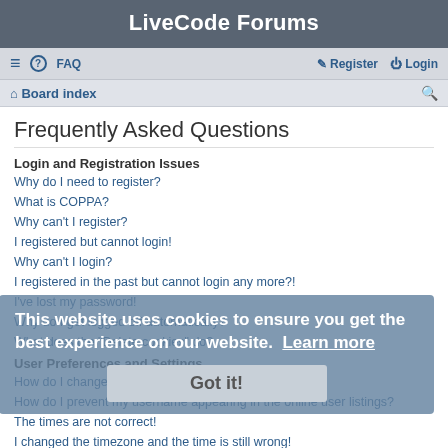LiveCode Forums
Frequently Asked Questions
Login and Registration Issues
Why do I need to register?
What is COPPA?
Why can't I register?
I registered but cannot login!
Why can't I login?
I registered in the past but cannot login any more?!
I've lost my password!
Why do I get logged off automatically?
What does the "Delete cookies" do?
User Preferences and Settings
How do I change my settings?
How do I prevent my username appearing in the online user listings?
The times are not correct!
I changed the timezone and the time is still wrong!
My language is not in the list!
What are the images next to my username?
This website uses cookies to ensure you get the best experience on our website. Learn more
Got it!